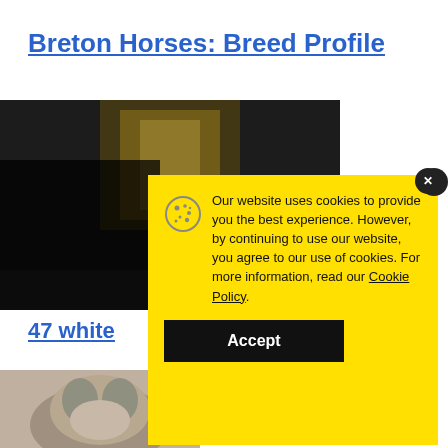Breton Horses: Breed Profile
[Figure (photo): Dark interior barn photo with light coming through a window]
47 white
[Figure (photo): Close-up of a horse face from below]
Our website uses cookies to provide you the best experience. However, by continuing to use our website, you agree to our use of cookies. For more information, read our Cookie Policy.
Accept